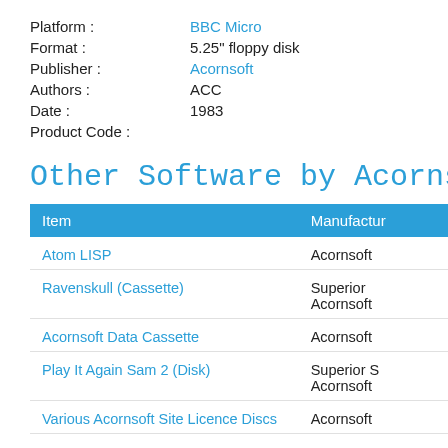Platform : BBC Micro
Format : 5.25" floppy disk
Publisher : Acornsoft
Authors : ACC
Date : 1983
Product Code :
Other Software by Acornso
| Item | Manufacturer |
| --- | --- |
| Atom LISP | Acornsoft |
| Ravenskull (Cassette) | Superior
Acornsoft |
| Acornsoft Data Cassette | Acornsoft |
| Play It Again Sam 2 (Disk) | Superior S
Acornsoft |
| Various Acornsoft Site Licence Discs | Acornsoft |